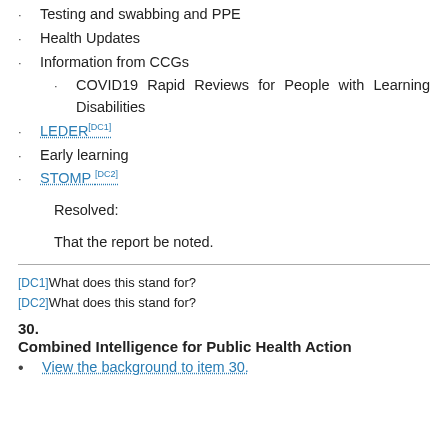Testing and swabbing and PPE
Health Updates
Information from CCGs
COVID19 Rapid Reviews for People with Learning Disabilities
LEDER[DC1]
Early learning
STOMP [DC2]
Resolved:
That the report be noted.
[DC1]What does this stand for?
[DC2]What does this stand for?
30.
Combined Intelligence for Public Health Action
View the background to item 30.